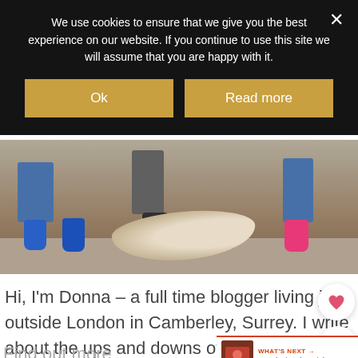We use cookies to ensure that we give you the best experience on our website. If you continue to use this site we will assume that you are happy with it.
Ok
Read more
[Figure (photo): Children's legs and feet near a large fallen log on a gravel playground, wearing blue sneakers, dark trainers, and pink sneakers]
Hi, I'm Donna – a full time blogger living just outside London in Camberley, Surrey. I write about the ups and downs of family life with my husband Dave and the children – Athena, 10, and Troy, 9.
WHAT'S NEXT → Introducing the Mighty...
Find out more